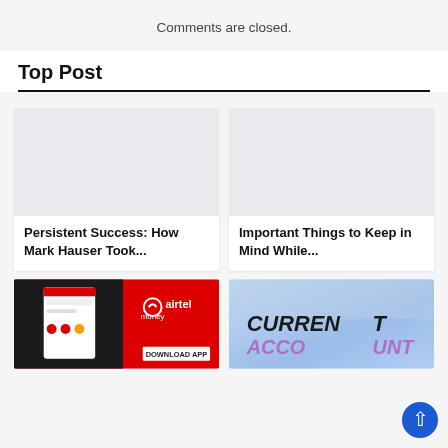Comments are closed.
Top Post
[Figure (illustration): Blank/placeholder image for article card 1]
Persistent Success: How Mark Hauser Took...
[Figure (illustration): Blank/placeholder image for article card 2]
Important Things to Keep in Mind While...
[Figure (photo): Airtel Money app advertisement on red background with phone, airtel logo, and DOWNLOAD APP button]
[Figure (photo): Current Account text visible in blue tones, partially cropped]